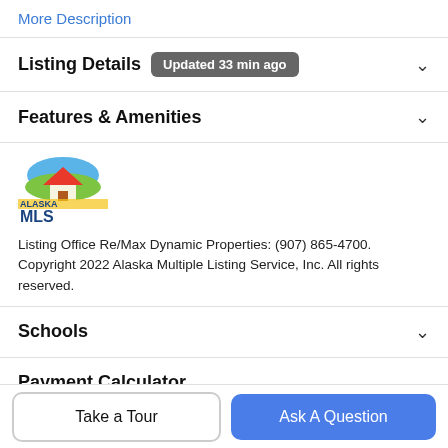More Description
Listing Details  Updated 33 min ago
Features & Amenities
[Figure (logo): Alaska MLS logo with house and mountains graphic and text ALASKA MLS]
Listing Office Re/Max Dynamic Properties: (907) 865-4700. Copyright 2022 Alaska Multiple Listing Service, Inc. All rights reserved.
Schools
Payment Calculator
Take a Tour
Ask A Question